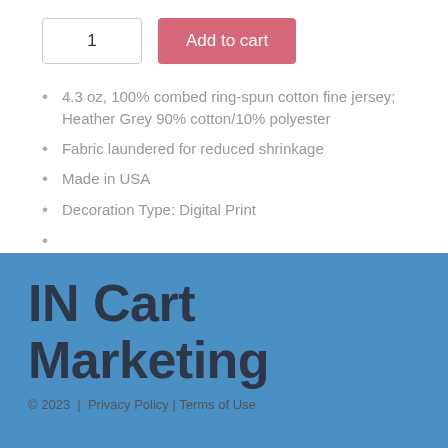1  Add to cart
4.3 oz, 100% combed ring-spun cotton fine jersey; Heather Grey 90% cotton/10% polyester
Fabric laundered for reduced shrinkage
Made in USA
Decoration Type: Digital Print
Size Chart
IN Cart Marketing
© 2023  |  Privacy Policy | Terms of Use